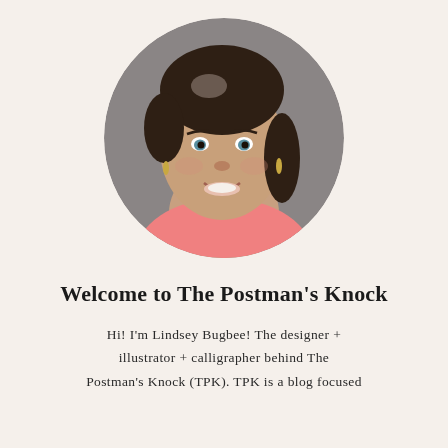[Figure (photo): Circular cropped headshot of a smiling woman with dark hair pulled back, blue eyes, wearing a salmon/coral pink top and gold drop earrings, photographed against a gray background.]
Welcome to The Postman's Knock
Hi! I'm Lindsey Bugbee! The designer + illustrator + calligrapher behind The Postman's Knock (TPK). TPK is a blog focused